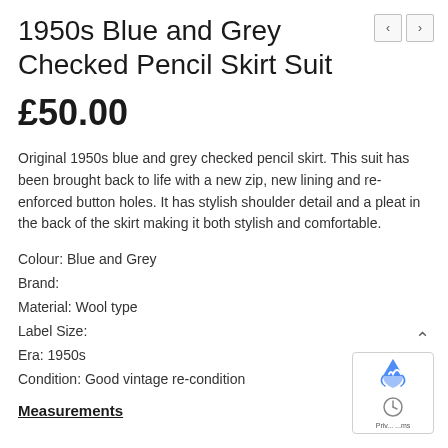1950s Blue and Grey Checked Pencil Skirt Suit
£50.00
Original 1950s blue and grey checked pencil skirt. This suit has been brought back to life with a new zip, new lining and re-enforced button holes. It has stylish shoulder detail and a pleat in the back of the skirt making it both stylish and comfortable.
Colour: Blue and Grey
Brand:
Material: Wool type
Label Size:
Era: 1950s
Condition: Good vintage re-condition
Measurements